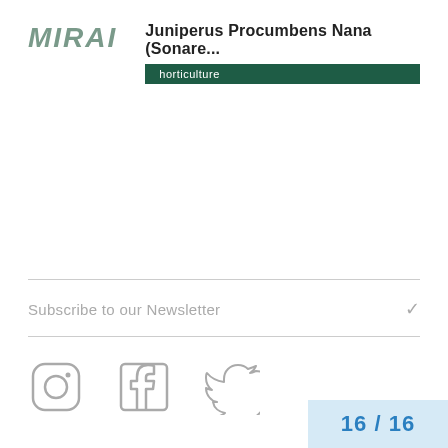MIRAI — Juniperus Procumbens Nana (Sonare... horticulture
Juniperus Procumbens Nana (Sonare...
horticulture
Subscribe to our Newsletter
[Figure (illustration): Instagram, Facebook, and Twitter social media icons in outline style]
Contact
16 / 16